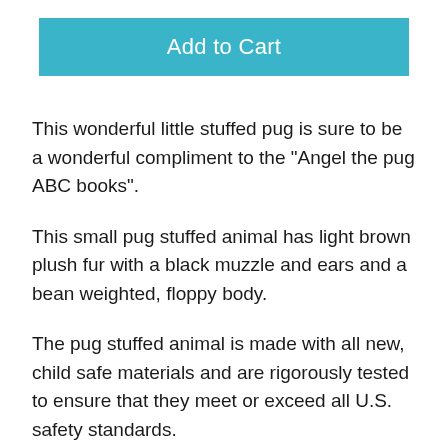Add to Cart
This wonderful little stuffed pug is sure to be a wonderful compliment to the "Angel the pug ABC books".
This small pug stuffed animal has light brown plush fur with a black muzzle and ears and a bean weighted, floppy body.
The pug stuffed animal is made with all new, child safe materials and are rigorously tested to ensure that they meet or exceed all U.S. safety standards.